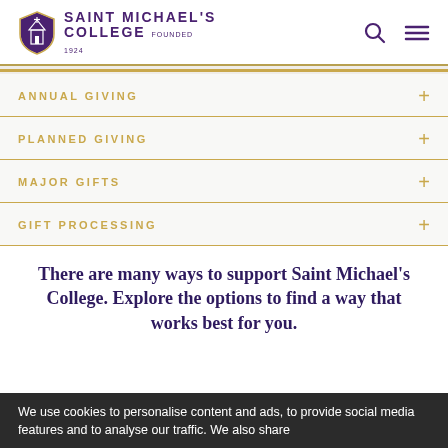Saint Michael's College Founded 1924
ANNUAL GIVING
PLANNED GIVING
MAJOR GIFTS
GIFT PROCESSING
There are many ways to support Saint Michael's College. Explore the options to find a way that works best for you.
We use cookies to personalise content and ads, to provide social media features and to analyse our traffic. We also share